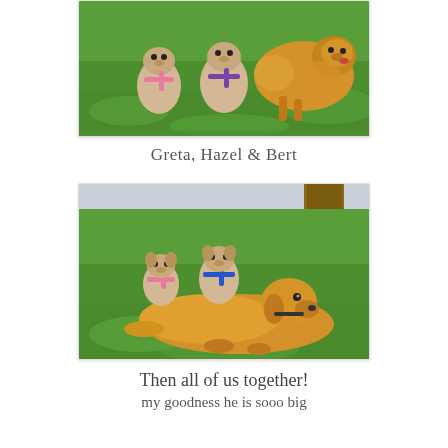[Figure (photo): Three dogs on grass — two pugs wearing pink and purple harnesses and a large golden retriever running, outdoors on green lawn]
Greta, Hazel & Bert
[Figure (photo): Three dogs posed on green grass near a tree — two pugs wearing pink and blue harnesses sitting behind a large golden retriever lying in the foreground]
Then all of us together!
my goodness he is sooo big